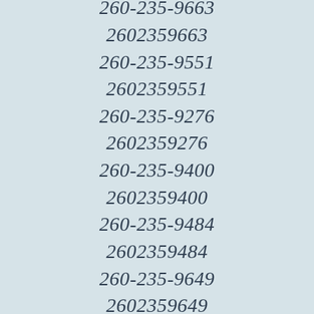260-235-9333
2602359333
260-235-9663
2602359663
260-235-9551
2602359551
260-235-9276
2602359276
260-235-9400
2602359400
260-235-9484
2602359484
260-235-9649
2602359649
260-235-9251
2602359251